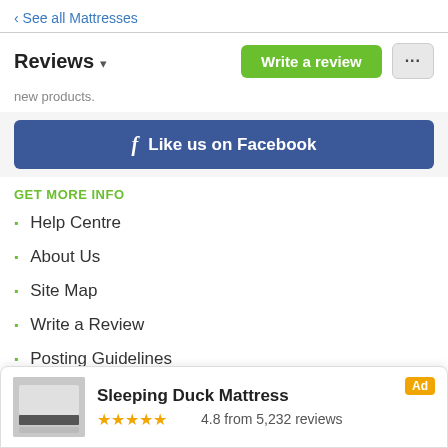< See all Mattresses
Reviews ▾
new products.
[Figure (other): Facebook Like us on Facebook button]
GET MORE INFO
Help Centre
About Us
Site Map
Write a Review
Posting Guidelines
Trust Centre
Terms of Use
[Figure (other): Ad banner: Sleeping Duck Mattress, 4.8 from 5,232 reviews]